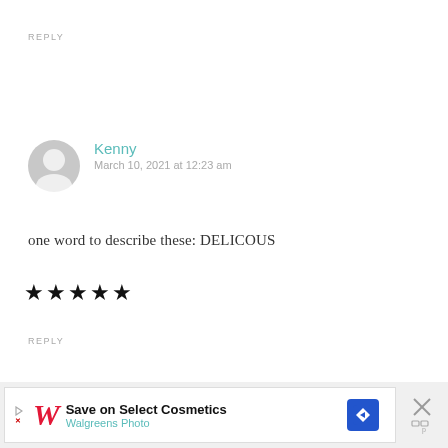REPLY
[Figure (illustration): User avatar placeholder — grey circle with person silhouette]
Kenny
March 10, 2021 at 12:23 am
one word to describe these: DELICOUS
★★★★★
REPLY
[Figure (screenshot): Walgreens advertisement banner: Save on Select Cosmetics — Walgreens Photo, with navigation icon and close button]